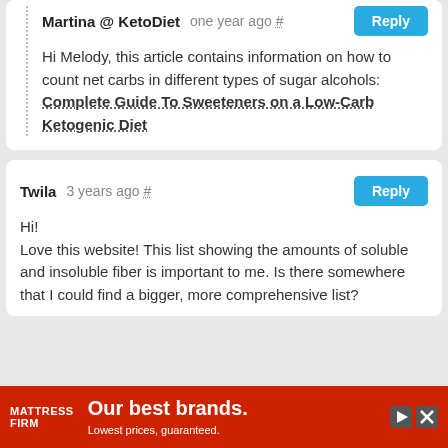Martina @ KetoDiet   one year ago #   Reply

Hi Melody, this article contains information on how to count net carbs in different types of sugar alcohols: Complete Guide To Sweeteners on a Low-Carb Ketogenic Diet
Twila   3 years ago #   Reply

Hi!
Love this website! This list showing the amounts of soluble and insoluble fiber is important to me. Is there somewhere that I could find a bigger, more comprehensive list?
[Figure (other): Mattress Firm advertisement banner: red background with white text 'Our best brands.' and subtext 'Lowest prices, guaranteed.' with Mattress Firm logo on left and navigation icons on right]